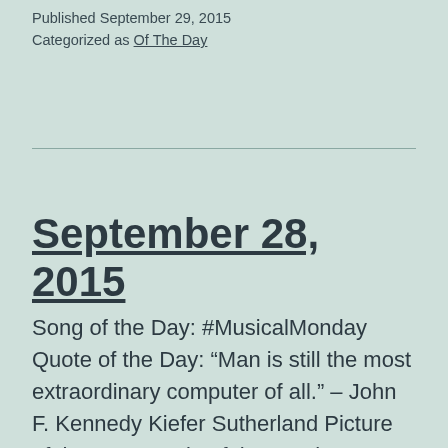Published September 29, 2015
Categorized as Of The Day
September 28, 2015
Song of the Day: #MusicalMonday Quote of the Day: “Man is still the most extraordinary computer of all.” – John F. Kennedy Kiefer Sutherland Picture of the Day: Movie of the Week: #MovieMonday 00